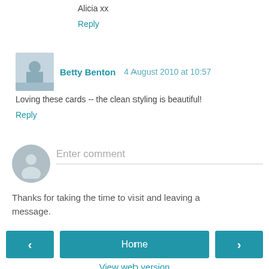Alicia xx
Reply
Betty Benton  4 August 2010 at 10:57
Loving these cards -- the clean styling is beautiful!
Reply
[Figure (other): Enter comment input field with avatar placeholder]
Thanks for taking the time to visit and leaving a message.
Home
View web version